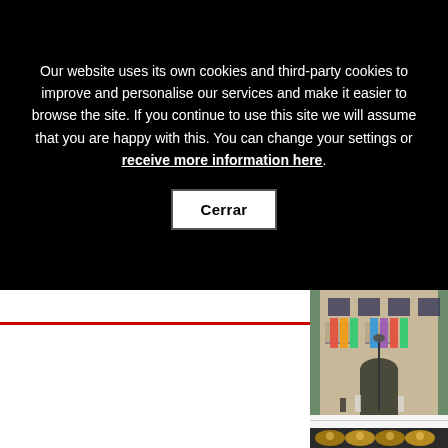Our website uses its own cookies and third-party cookies to improve and personalise our services and make it easier to browse the site. If you continue to use this site we will assume that you are happy with this. You can change your settings or receive more information here.
Cerrar
[Figure (photo): Photo of a building facade with colorful banners/flags hanging from balconies, appears to be a festive or cultural event in a European city]
[Figure (photo): Partial photo showing what appears to be brass/wind musical instruments, partially visible]